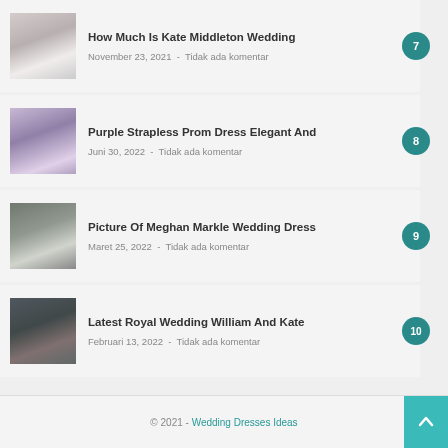How Much Is Kate Middleton Wedding
November 23, 2021  -  Tidak ada komentar
7
Purple Strapless Prom Dress Elegant And
Juni 30, 2022  -  Tidak ada komentar
8
Picture Of Meghan Markle Wedding Dress
Maret 25, 2022  -  Tidak ada komentar
9
Latest Royal Wedding William And Kate
Februari 13, 2022  -  Tidak ada komentar
10
© 2021 - Wedding Dresses Ideas